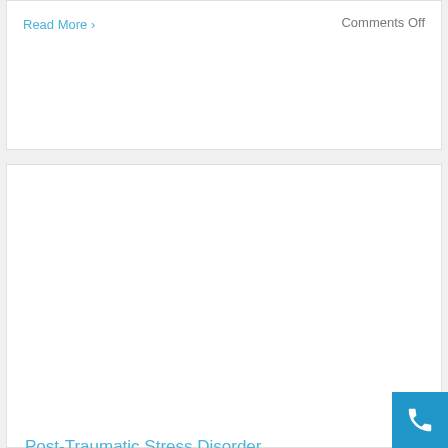Read More >
Comments Off
[Figure (photo): A bearded man with reddish-blonde hair wearing a grey t-shirt, looking downward, photographed outdoors in a park setting with green trees and grass in the background.]
Post-Traumatic Stress Disorder